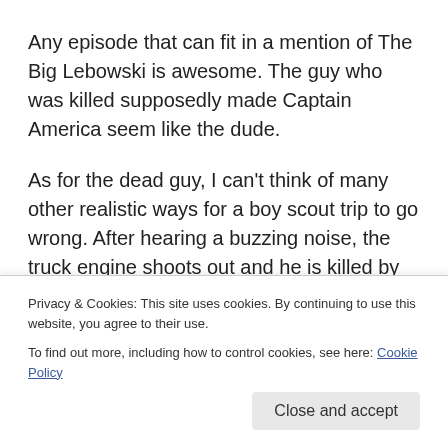Any episode that can fit in a mention of The Big Lebowski is awesome. The guy who was killed supposedly made Captain America seem like the dude.
As for the dead guy, I can't think of many other realistic ways for a boy scout trip to go wrong. After hearing a buzzing noise, the truck engine shoots out and he is killed by something through the head. The weird part is he is found floating in the woods not far away. The obvious assumption is that this is some super tech or someone on the inside. Can't remember the details at the moment, it is...
Privacy & Cookies: This site uses cookies. By continuing to use this website, you agree to their use.
To find out more, including how to control cookies, see here: Cookie Policy
Close and accept